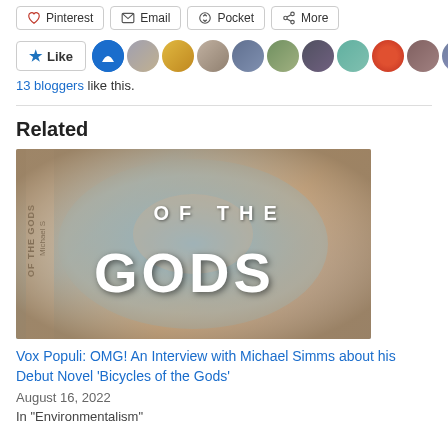Pinterest  Email  Pocket  More
[Figure (other): Like button with star icon followed by a row of 11 circular avatar images of bloggers]
13 bloggers like this.
Related
[Figure (illustration): Book cover image for 'Bicycles of the Gods' showing a painted ceiling fresco with figures and text overlaid reading 'OF THE GODS' in large white letters]
Vox Populi: OMG! An Interview with Michael Simms about his Debut Novel 'Bicycles of the Gods'
August 16, 2022
In "Environmentalism"